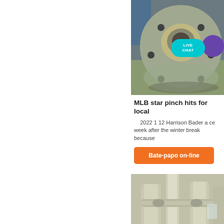[Figure (photo): Industrial metal flange component photographed on a workshop floor, with LIVE CHAT badge overlay]
MLB star pinch hits for local
2022 1 12 Harrison Bader a ce week after the winter break because
Bate-papo on-line
[Figure (photo): Industrial white/grey plastic pipe and ventilation duct system in a factory setting]